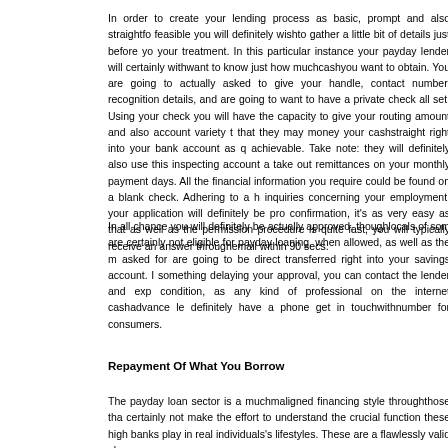In order to create your lending process as basic, prompt and also straightfo... feasible you will definitely wishto gather a little bit of details just before yo... your treatment. In this particular instance your payday lender will certainly withwant to know just how muchcashyou want to obtain. You are going to actually asked to give your handle, contact number, recognition details, and are going to want to have a private check all set. Using your check you will have the capacity to give your routing amount and also account variety t that they may money your cashstraight right into your bank account as q achievable. Take note: they will definitely also use this inspecting account a take out remittances on your monthly payment days. All the financial information you require could be found on a blank check. Adhering to a h inquiries concerning your employment, your application will definitely be pro confirmation, it's as very easy as that as well as the permission procedure is quite fast, you will typically receive an answer throughemail within 90 secs.
In all chance you will definitely be actually approved, thoughlocals of som are certainly not eligible for payday loaning, when allowed, as well as the m asked for are going to be direct transferred right into your savings account. I something delaying your approval, you can contact the lender and exp condition, as any kind of professional on the internet cashadvance le definitely have a phone get in touchwithnumber for consumers.
Repayment Of What You Borrow
The payday loan sector is a muchmaligned financing style throughthose tha certainly not make the effort to understand the crucial function these high banks play in real individuals's lifestyles. These are a flawlessly valid also